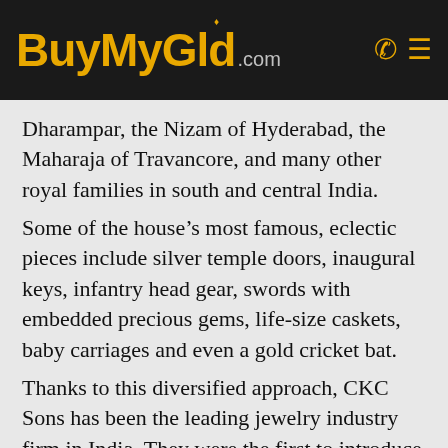BuyMyGold.com
Dharampar, the Nizam of Hyderabad, the Maharaja of Travancore, and many other royal families in south and central India.
Some of the house’s most famous, eclectic pieces include silver temple doors, inaugural keys, infantry head gear, swords with embedded precious gems, life-size caskets, baby carriages and even a gold cricket bat.
Thanks to this diversified approach, CKC Sons has been the leading jewelry industry firm in India. They were the first to introduce the illustrious Tolkowsky brand (creators of the round brilliant diamond cut) to India; as well as being the first to start a DeBeer’s Forevermark brand in India to be the retailer in all of India with the largest showroom.